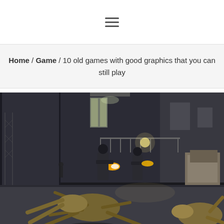☰ (navigation hamburger menu)
Home / Game / 10 old games with good graphics that you can still play
[Figure (screenshot): Screenshot from a video game (Half-Life 2 style) showing armed soldiers shooting at large alien ant-lion creatures in an industrial/urban environment at night with dramatic lighting]